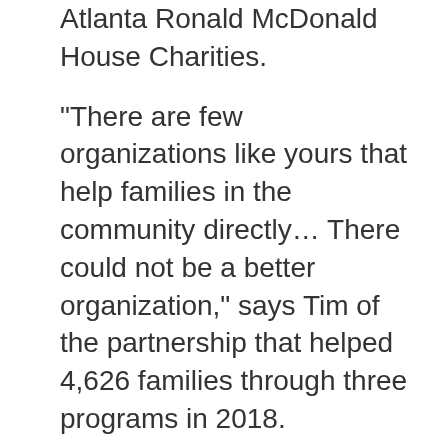Atlanta Ronald McDonald House Charities.
“There are few organizations like yours that help families in the community directly… There could not be a better organization,” says Tim of the partnership that helped 4,626 families through three programs in 2018.
“Golf is a place for fun and fellowship,” Tim said of the inspiration for the tournament, adding “these